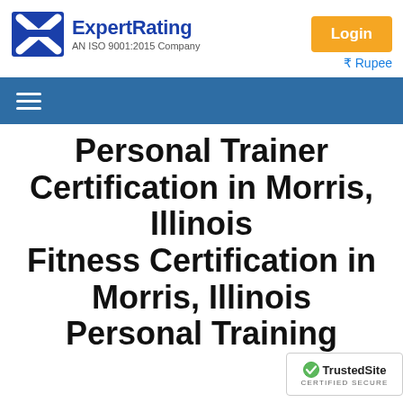[Figure (logo): ExpertRating logo with blue X/E icon and text 'ExpertRating AN ISO 9001:2015 Company']
Login
₹ Rupee
[Figure (other): Navigation hamburger menu icon on blue bar]
Personal Trainer Certification in Morris, Illinois Fitness Certification in Morris, Illinois Personal Training
[Figure (other): TrustedSite CERTIFIED SECURE badge]